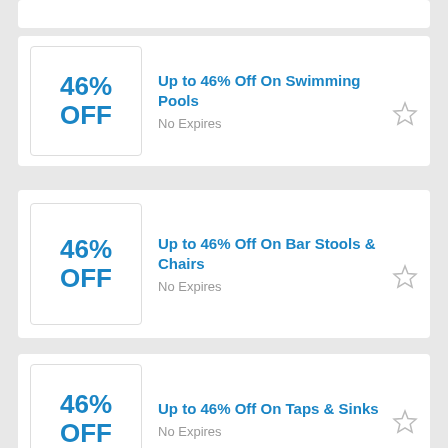46% OFF — Up to 46% Off On Swimming Pools — No Expires
46% OFF — Up to 46% Off On Bar Stools & Chairs — No Expires
46% OFF — Up to 46% Off On Taps & Sinks — No Expires